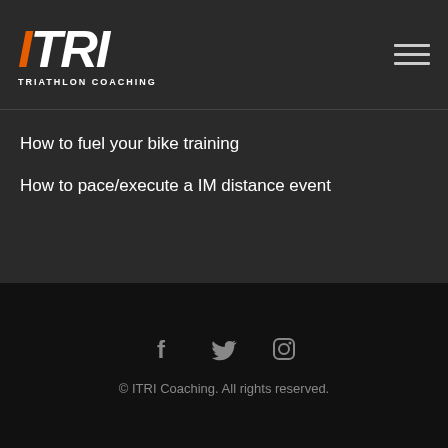ITRI TRIATHLON COACHING
How to fuel your bike training
How to pace/execute a IM distance event
© ITRI Coaching. All rights reserved.